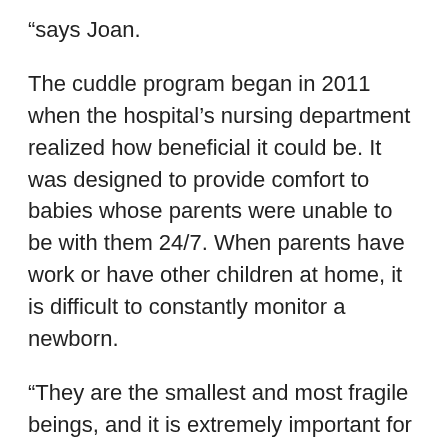“says Joan.
The cuddle program began in 2011 when the hospital’s nursing department realized how beneficial it could be. It was designed to provide comfort to babies whose parents were unable to be with them 24/7. When parents have work or have other children at home, it is difficult to constantly monitor a newborn.
“They are the smallest and most fragile beings, and it is extremely important for their emotional needs and their social-emotional development to have that comforting and relaxing touch,” says Christy Dowd, a child life specialist in the hospital’s NICU. “The hugging program is about 8 or 9 years old. Having the cuddle program helps parents feel a little better, knowing that their baby will be comforted and